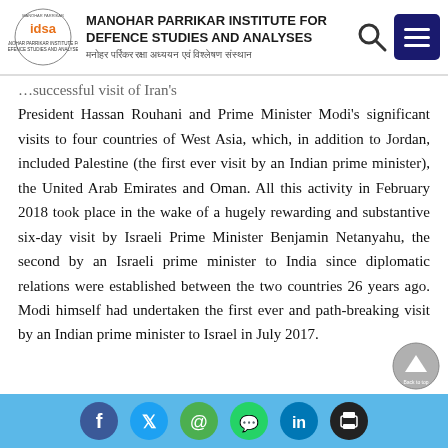MANOHAR PARRIKAR INSTITUTE FOR DEFENCE STUDIES AND ANALYSES | मनोहर पर्रिकर रक्षा अध्ययन एवं विश्लेषण संस्थान
...successful visit of Iran's President Hassan Rouhani and Prime Minister Modi's significant visits to four countries of West Asia, which, in addition to Jordan, included Palestine (the first ever visit by an Indian prime minister), the United Arab Emirates and Oman. All this activity in February 2018 took place in the wake of a hugely rewarding and substantive six-day visit by Israeli Prime Minister Benjamin Netanyahu, the second by an Israeli prime minister to India since diplomatic relations were established between the two countries 26 years ago. Modi himself had undertaken the first ever and path-breaking visit by an Indian prime minister to Israel in July 2017.
[Figure (other): Social media share icons footer bar: Facebook, Twitter, Email, WhatsApp, LinkedIn, Print]